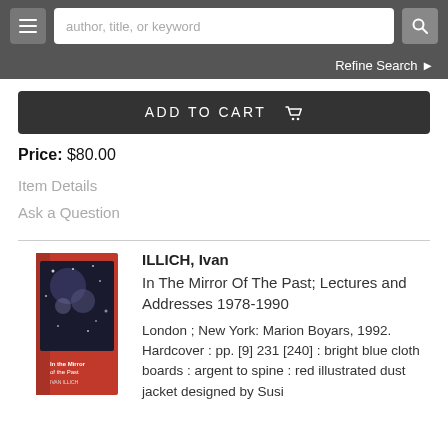[Figure (screenshot): Website navigation bar with hamburger menu button, search input field showing placeholder 'author, title, or keyword', and a search icon button on dark grey background]
Refine Search ▶
ADD TO CART 🛒
Price: $80.00
Item Details
Ask a Question
ILLICH, Ivan
In The Mirror Of The Past; Lectures and Addresses 1978-1990
London ; New York: Marion Boyars, 1992. Hardcover : pp. [9] 231 [240] : bright blue cloth boards : argent to spine : red illustrated dust jacket designed by Susi